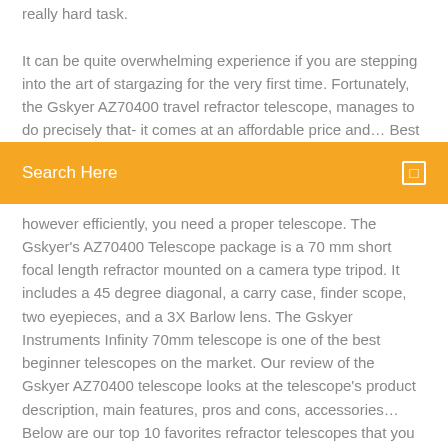really hard task. It can be quite overwhelming experience if you are stepping into the art of stargazing for the very first time. Fortunately, the Gskyer AZ70400 travel refractor telescope, manages to do precisely that- it comes at an affordable price and… Best
[Figure (screenshot): Orange search bar with white text 'Search Here' and a small white square icon on the right]
however efficiently, you need a proper telescope. The Gskyer's AZ70400 Telescope package is a 70 mm short focal length refractor mounted on a camera type tripod. It includes a 45 degree diagonal, a carry case, finder scope, two eyepieces, and a 3X Barlow lens. The Gskyer Instruments Infinity 70mm telescope is one of the best beginner telescopes on the market. Our review of the Gskyer AZ70400 telescope looks at the telescope's product description, main features, pros and cons, accessories… Below are our top 10 favorites refractor telescopes that you can get for yourself and also ease all your